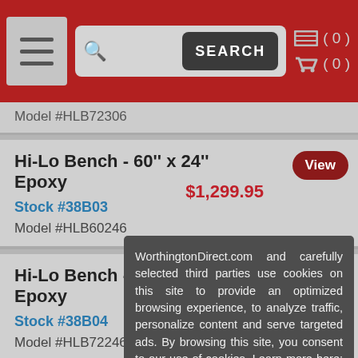SEARCH (0) (0)
Model #HLB72306
Hi-Lo Bench - 60'' x 24'' Epoxy
Stock #38B03  $1,299.95
Model #HLB60246
View
Hi-Lo Bench - 72'' x 24'' Epoxy
Stock #38B04  $1,424.95
Model #HLB72246
View
Hi-Lo Bench ... Laminate
Stock #3...
Model #...
Hi-Lo Bench ... Laminate
Stock #3...
Model #...
WorthingtonDirect.com and carefully selected third parties use cookies on this site to provide an optimized browsing experience, to analyze traffic, personalize content and serve targeted ads. By browsing this site, you consent to our use of cookies. Learn more here: We Value Your Privacy.
I Accept